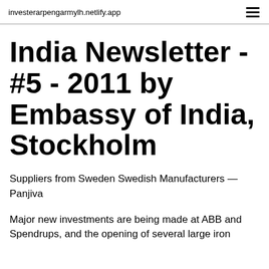investerarpengarmylh.netlify.app
India Newsletter - #5 - 2011 by Embassy of India, Stockholm
Suppliers from Sweden Swedish Manufacturers — Panjiva
Major new investments are being made at ABB and Spendrups, and the opening of several large iron